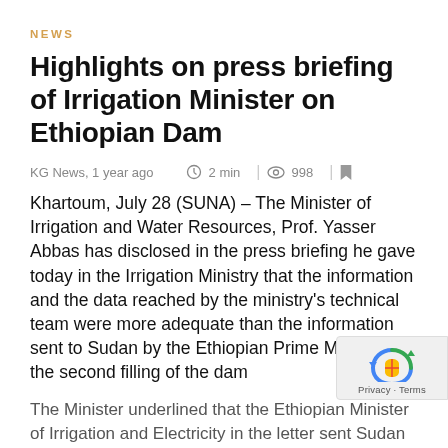NEWS
Highlights on press briefing of Irrigation Minister on Ethiopian Dam
KG News, 1 year ago   ⏱ 2 min  |  👁 998  |  🔖
Khartoum, July 28 (SUNA) – The Minister of Irrigation and Water Resources, Prof. Yasser Abbas has disclosed in the press briefing he gave today in the Irrigation Ministry that the information and the data reached by the ministry's technical team were more adequate than the information sent to Sudan by the Ethiopian Prime Minister on the second filling of the dam
The Minister underlined that the Ethiopian Minister of Irrigation and Electricity in the letter sent Sudan dated July 5 that Ethiopia will reserve 13.5 billion cubic meters